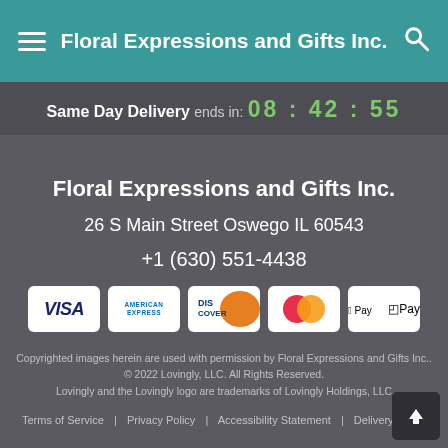Floral Expressions and Gifts Inc.
Same Day Delivery ends in: 08 : 42 : 55
Floral Expressions and Gifts Inc.
26 S Main Street Oswego IL 60543
+1 (630) 551-4438
[Figure (other): Payment method icons: VISA, American Express, Discover, Mastercard, Apple Pay]
Copyrighted images herein are used with permission by Floral Expressions and Gifts Inc..
© 2022 Lovingly, LLC. All Rights Reserved.
Lovingly and the Lovingly logo are trademarks of Lovingly Holdings, LLC
Terms of Service | Privacy Policy | Accessibility Statement | Delivery Policy